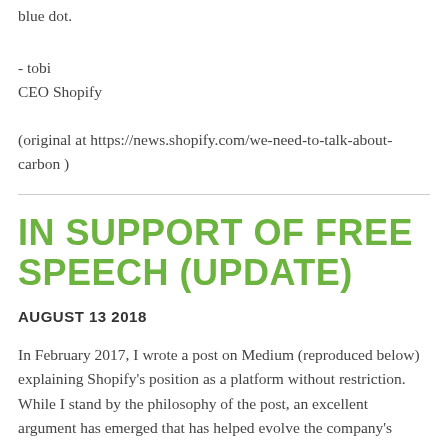blue dot.
- tobi
CEO Shopify
(original at https://news.shopify.com/we-need-to-talk-about-carbon )
IN SUPPORT OF FREE SPEECH (UPDATE)
AUGUST 13 2018
In February 2017, I wrote a post on Medium (reproduced below) explaining Shopify's position as a platform without restriction. While I stand by the philosophy of the post, an excellent argument has emerged that has helped evolve the company's position...